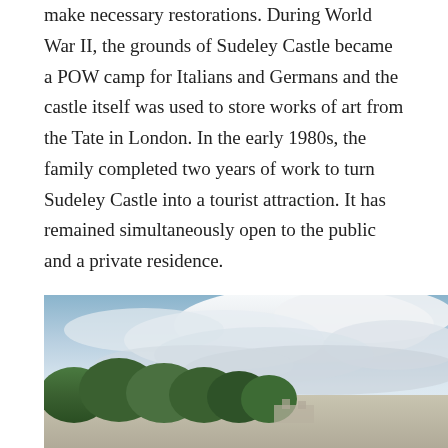make necessary restorations. During World War II, the grounds of Sudeley Castle became a POW camp for Italians and Germans and the castle itself was used to store works of art from the Tate in London. In the early 1980s, the family completed two years of work to turn Sudeley Castle into a tourist attraction. It has remained simultaneously open to the public and a private residence.
[Figure (photo): Outdoor photograph showing a partly cloudy sky with white and grey clouds, a row of tall dark green trees in the lower left portion, and what appears to be a distant view of Sudeley Castle or grounds in the background.]